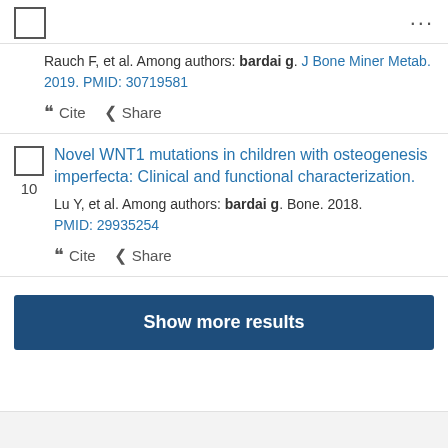… ···
Rauch F, et al. Among authors: bardai g. J Bone Miner Metab. 2019. PMID: 30719581
❝❝ Cite  < Share
Novel WNT1 mutations in children with osteogenesis imperfecta: Clinical and functional characterization.
Lu Y, et al. Among authors: bardai g. Bone. 2018. PMID: 29935254
❝❝ Cite  < Share
Show more results